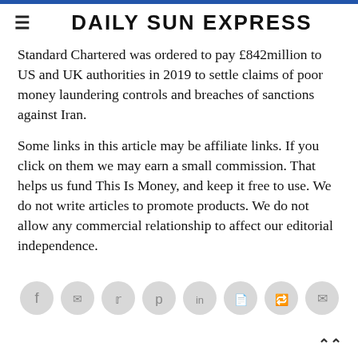DAILY SUN EXPRESS
Standard Chartered was ordered to pay £842million to US and UK authorities in 2019 to settle claims of poor money laundering controls and breaches of sanctions against Iran.
Some links in this article may be affiliate links. If you click on them we may earn a small commission. That helps us fund This Is Money, and keep it free to use. We do not write articles to promote products. We do not allow any commercial relationship to affect our editorial independence.
[Figure (other): Social sharing icons row: Facebook, Messenger, Twitter, Pinterest, LinkedIn, WhatsApp, Reddit, Email]